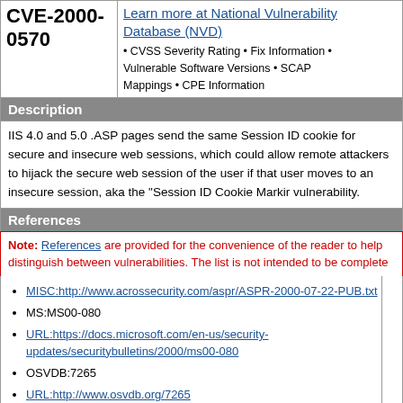CVE-2000-0570
Learn more at National Vulnerability Database (NVD) • CVSS Severity Rating • Fix Information • Vulnerable Software Versions • SCAP Mappings • CPE Information
Description
IIS 4.0 and 5.0 .ASP pages send the same Session ID cookie for secure and insecure web sessions, which could allow remote attackers to hijack the secure web session of the user if that user moves to an insecure session, aka the "Session ID Cookie Marking" vulnerability.
References
Note: References are provided for the convenience of the reader to help distinguish between vulnerabilities. The list is not intended to be complete
MISC:http://www.acrossecurity.com/aspr/ASPR-2000-07-22-PUB.txt
MS:MS00-080
URL:https://docs.microsoft.com/en-us/security-updates/securitybulletins/2000/ms00-080
OSVDB:7265
URL:http://www.osvdb.org/7265
XF:session-cookie-remote-retrieval(5396)
URL:https://exchange.xforce.ibmcloud.com/vulnerabilities/5...